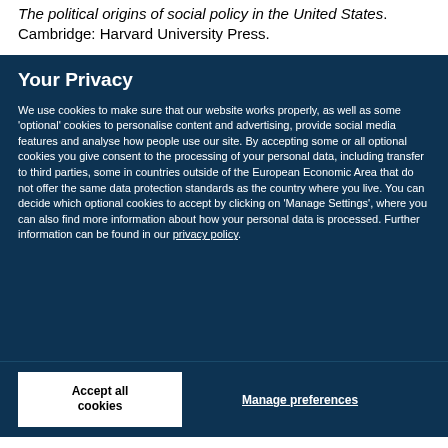The political origins of social policy in the United States. Cambridge: Harvard University Press.
Your Privacy
We use cookies to make sure that our website works properly, as well as some 'optional' cookies to personalise content and advertising, provide social media features and analyse how people use our site. By accepting some or all optional cookies you give consent to the processing of your personal data, including transfer to third parties, some in countries outside of the European Economic Area that do not offer the same data protection standards as the country where you live. You can decide which optional cookies to accept by clicking on 'Manage Settings', where you can also find more information about how your personal data is processed. Further information can be found in our privacy policy.
Accept all cookies
Manage preferences